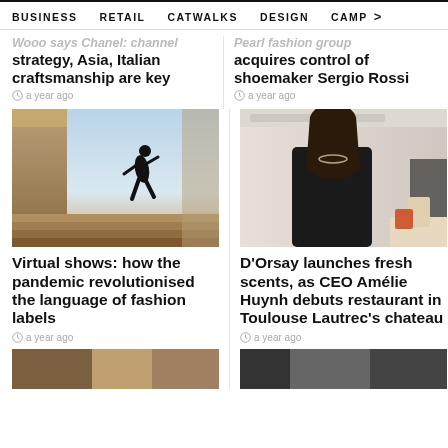BUSINESS   RETAIL   CATWALKS   DESIGN   CAMP >
strategy, Asia, Italian craftsmanship are key
a year ago
acquires control of shoemaker Sergio Rossi
a year ago
[Figure (photo): Silhouette of a person running up stairs with classical stone columns and a clear sky background]
Virtual shows: how the pandemic revolutionised the language of fashion labels
a year ago
[Figure (photo): A woman with long dark hair wearing a black blazer, standing in an elegant interior setting]
D'Orsay launches fresh scents, as CEO Amélie Huynh debuts restaurant in Toulouse Lautrec's chateau
a year ago
[Figure (photo): Partial bottom image, left article]
[Figure (photo): Partial bottom image, right article]